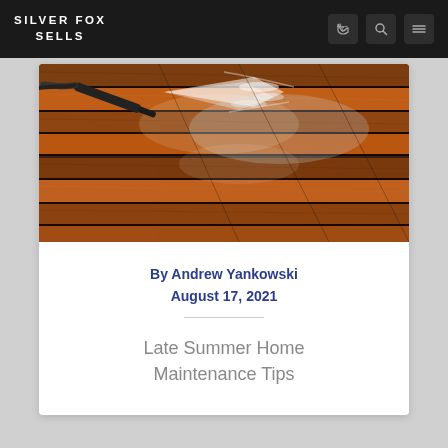SILVER FOX SELLS
[Figure (photo): Pressure washer cleaning a wooden deck, water spray visible, warm brown wood tones]
By Andrew Yankowski
August 17, 2021
Late Summer Home Maintenance Tips